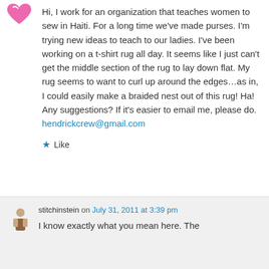[Figure (illustration): Pink heart-shaped logo/avatar icon in top left corner]
Hi, I work for an organization that teaches women to sew in Haiti. For a long time we've made purses. I'm trying new ideas to teach to our ladies. I've been working on a t-shirt rug all day. It seems like I just can't get the middle section of the rug to lay down flat. My rug seems to want to curl up around the edges…as in, I could easily make a braided nest out of this rug! Ha! Any suggestions? If it's easier to email me, please do. hendrickcrew@gmail.com
★ Like
[Figure (illustration): Small avatar icon of a figure for user stitchinstein]
stitchinstein on July 31, 2011 at 3:39 pm
I know exactly what you mean here. The